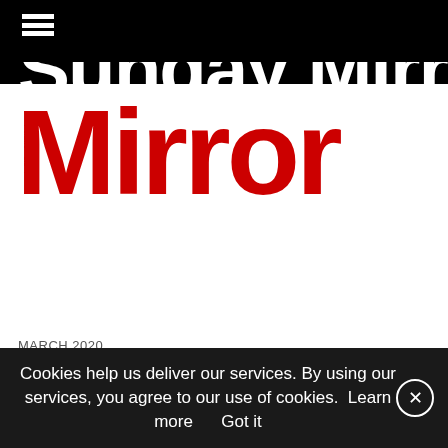[Figure (logo): Sunday Mirror newspaper logo — partial cropped white text on black bar at top, then large red 'Mirror' wordmark below]
MARCH 2020
Artists to Watch Out for,
Sunday Mirror, Maharashtra, India
View Article >
Cookies help us deliver our services. By using our services, you agree to our use of cookies.  Learn more     Got it